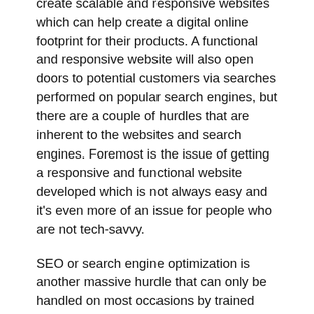create scalable and responsive websites which can help create a digital online footprint for their products. A functional and responsive website will also open doors to potential customers via searches performed on popular search engines, but there are a couple of hurdles that are inherent to the websites and search engines. Foremost is the issue of getting a responsive and functional website developed which is not always easy and it's even more of an issue for people who are not tech-savvy.
SEO or search engine optimization is another massive hurdle that can only be handled on most occasions by trained professionals. All this effort will be costly and time-consuming. Shalooka has tried to address the issue by automatically creating web listings for items and services which are then made available to search engines in an optimized fashion. In this way, a small business can potentially reach promoted positions in google searches and gain